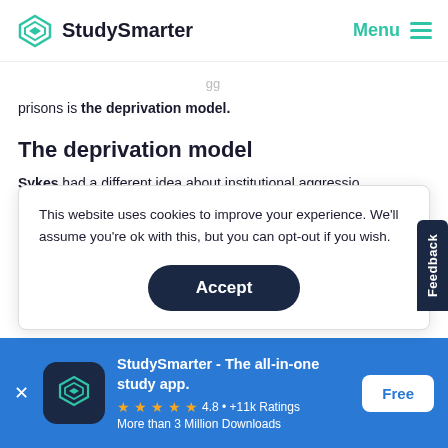StudySmarter | Menu
prisons is the deprivation model.
The deprivation model
Sykes had a different idea about institutional aggressio…
This website uses cookies to improve your experience. We'll assume you're ok with this, but you can opt-out if you wish.
Accept
independence, goods, safety and heterosexual
StudySmarter - The all-in-one study app.
4.8 • +11k Ratings
More than 3 Million Downloads
Free